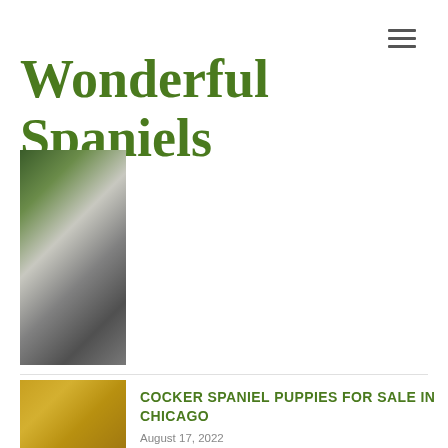☰ menu icon
Wonderful Spaniels
[Figure (photo): Blurred photo of a spaniel dog outdoors, tall portrait orientation]
[Figure (photo): Blurred photo of a golden/blonde spaniel dog, partially visible]
COCKER SPANIEL PUPPIES FOR SALE IN CHICAGO
August 17, 2022